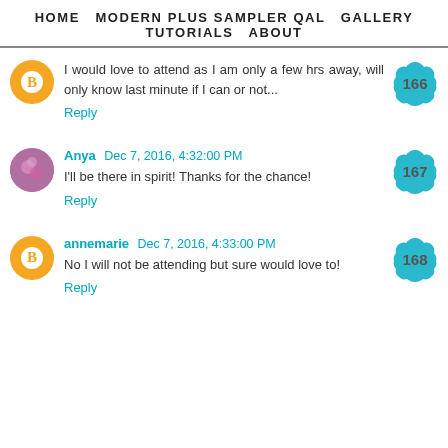HOME   MODERN PLUS SAMPLER QAL   GALLERY   TUTORIALS   ABOUT
I would love to attend as I am only a few hrs away, will only know last minute if I can or not...
Reply
Anya Dec 7, 2016, 4:32:00 PM
I'll be there in spirit! Thanks for the chance!
Reply
annemarie Dec 7, 2016, 4:33:00 PM
No I will not be attending but sure would love to!
Reply